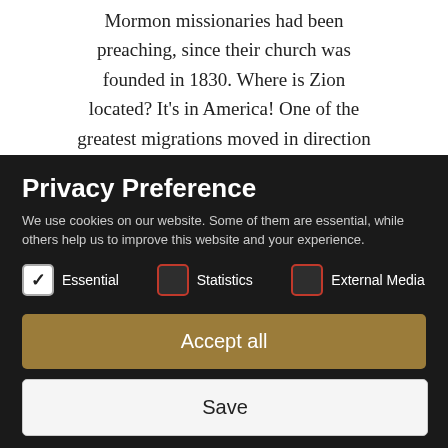Mormon missionaries had been preaching, since their church was founded in 1830. Where is Zion located? It's in America! One of the greatest migrations moved in direction
Privacy Preference
We use cookies on our website. Some of them are essential, while others help us to improve this website and your experience.
Essential (checked)
Statistics (unchecked)
External Media (unchecked)
Accept all
Save
Individual Privacy Preferences
Cookie Details | Privacy Policy | Imprint